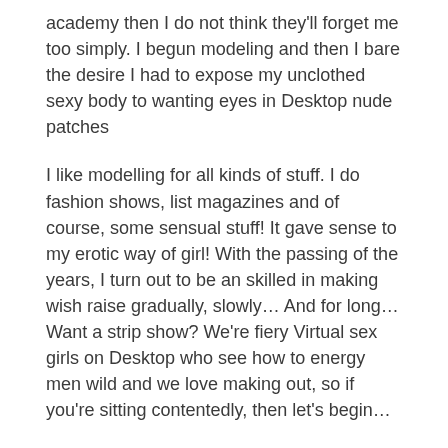academy then I do not think they'll forget me too simply. I begun modeling and then I bare the desire I had to expose my unclothed sexy body to wanting eyes in Desktop nude patches
I like modelling for all kinds of stuff. I do fashion shows, list magazines and of course, some sensual stuff! It gave sense to my erotic way of girl! With the passing of the years, I turn out to be an skilled in making wish raise gradually, slowly… And for long… Want a strip show? We're fiery Virtual sex girls on Desktop who see how to energy men wild and we love making out, so if you're sitting contentedly, then let's begin…
Stripping bare in front of a public for Desktop strip patches is so stress that each girl must be taught how to unclothe for her guy! I see that men are one-time mean on use. What they are looking for is a lady who knows just how to punish them.